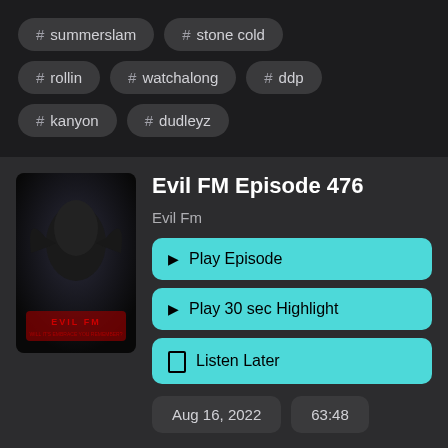# summerslam
# stone cold
# rollin
# watchalong
# ddp
# kanyon
# dudleyz
Evil FM Episode 476
Evil Fm
Play Episode
Play 30 sec Highlight
Listen Later
Aug 16, 2022
63:48